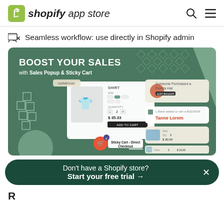shopify app store
Seamless workflow: use directly in Shopify admin
[Figure (screenshot): Shopify app promotional screenshot showing 'BOOST YOUR SALES with Sales Popup & Sticky Cart' with UI mockups of a shirt product page, sticky cart, sales popup notifications, and direct checkout button]
Don't have a Shopify store? Start your free trial →
Reviews